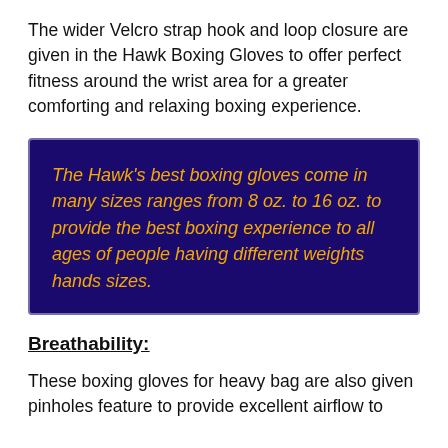The wider Velcro strap hook and loop closure are given in the Hawk Boxing Gloves to offer perfect fitness around the wrist area for a greater comforting and relaxing boxing experience.
The Hawk's best boxing gloves come in many sizes ranges from 8 oz. to 16 oz. to provide the best boxing experience to all ages of people having different weights hands sizes.
Breathability:
These boxing gloves for heavy bag are also given pinholes feature to provide excellent airflow to